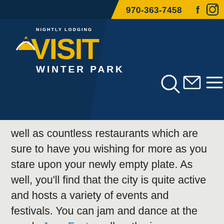[Figure (logo): Visit Winter Park Nightly Lodging logo with gold VISIT text and white WINTER PARK text on dark navy background, with phone number 970-363-7458 and Facebook/Instagram social icons in gold bar, plus search, email, and menu nav icons]
well as countless restaurants which are sure to have you wishing for more as you stare upon your newly empty plate. As well, you'll find that the city is quite active and hosts a variety of events and festivals. You can jam and dance at the yearly Jazz Fest or allow the inner connoisseur within you to come out and play at the annual Wine Festival. Don't miss the multitude of concerns and performances that you will find throughout the year, and don't forget to allow the inner artist to thrive as you visit the wide selection of unique galleries showing off the creative minds of both local and international artists. No